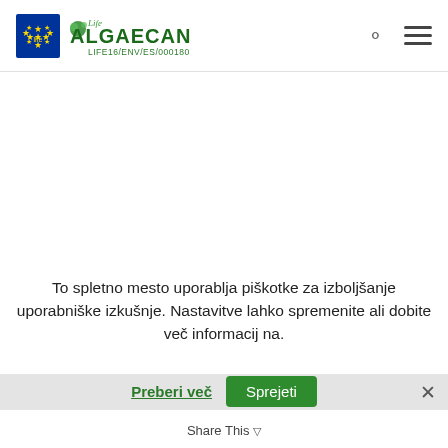[Figure (logo): Life ALGAECAN logo with EU flag and text LIFE16/ENV/ES/000180]
To spletno mesto uporablja piškotke za izboljšanje uporabniške izkušnje. Nastavitve lahko spremenite ali dobite več informacij na.
Preberi več
Sprejeti
Share This